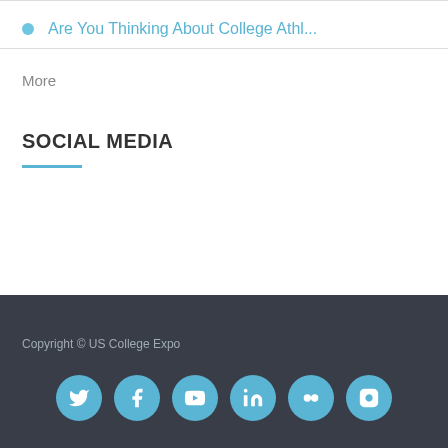Are You Thinking About College Athl...
More
SOCIAL MEDIA
Copyright © US College Expo